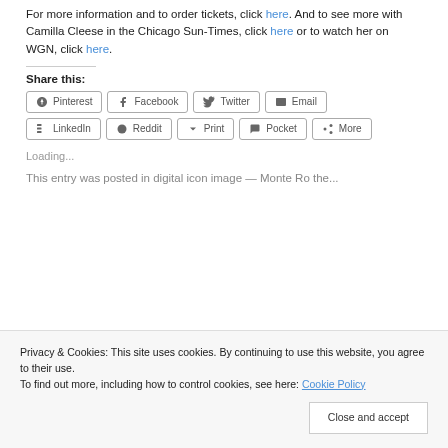For more information and to order tickets, click here. And to see more with Camilla Cleese in the Chicago Sun-Times, click here or to watch her on WGN, click here.
Share this:
Pinterest | Facebook | Twitter | Email | LinkedIn | Reddit | Print | Pocket | More
Loading...
This entry was posted in...
Privacy & Cookies: This site uses cookies. By continuing to use this website, you agree to their use. To find out more, including how to control cookies, see here: Cookie Policy